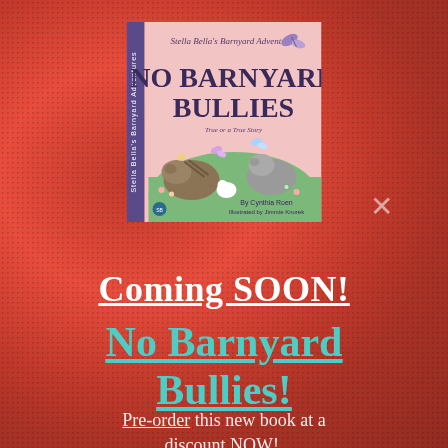[Figure (illustration): Book cover for 'No Barnyard Bullies' from the Stella Bella's Barnyard Adventures series, with pink background showing barnyard animals, butterflies, and flowers. By Cynthia Roen, Illustrated by Jimmie Knurek.]
Coming SOON!
No Barnyard Bullies!
Pre-order this new book at a discount NOW!.